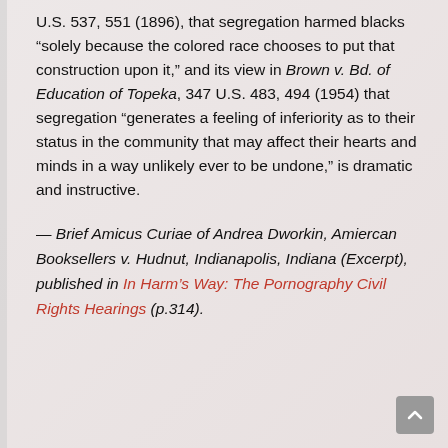U.S. 537, 551 (1896), that segregation harmed blacks “solely because the colored race chooses to put that construction upon it,” and its view in Brown v. Bd. of Education of Topeka, 347 U.S. 483, 494 (1954) that segregation “generates a feeling of inferiority as to their status in the community that may affect their hearts and minds in a way unlikely ever to be undone,” is dramatic and instructive.
— Brief Amicus Curiae of Andrea Dworkin, Amiercan Booksellers v. Hudnut, Indianapolis, Indiana (Excerpt), published in In Harm’s Way: The Pornography Civil Rights Hearings (p.314).